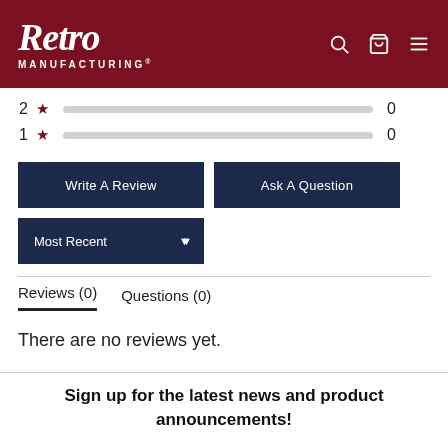[Figure (logo): Retro Manufacturing logo — script 'Retro' text above 'MANUFACTURING' in white on dark red header background with search, cart, and menu icons]
2 ★  0
1 ★  0
Write A Review
Ask A Question
Most Recent ▼
Reviews (0)    Questions (0)
There are no reviews yet.
Sign up for the latest news and product announcements!